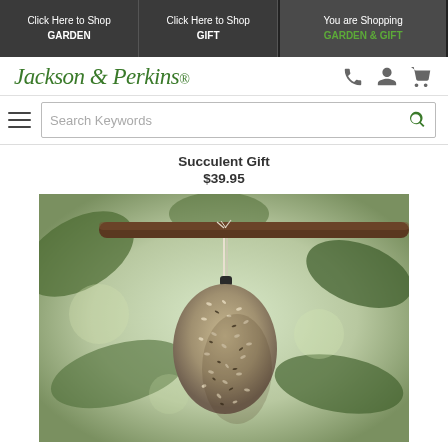Click Here to Shop GARDEN | Click Here to Shop GIFT | You are Shopping GARDEN & GIFT
[Figure (logo): Jackson & Perkins logo with phone, account, and cart icons]
Search Keywords
Succulent Gift
$39.95
[Figure (photo): A bird seed ornament shaped like a bird/pear, hanging from a wooden branch with twine, surrounded by green leaves in soft focus background]